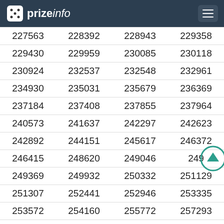prizeinfo
| 227563 | 228392 | 228943 | 229358 |
| 229430 | 229959 | 230085 | 230118 |
| 230924 | 232537 | 232548 | 232961 |
| 234930 | 235031 | 235679 | 236369 |
| 237184 | 237408 | 237855 | 237964 |
| 240573 | 241637 | 242297 | 242623 |
| 242892 | 244151 | 245617 | 246372 |
| 246415 | 248620 | 249046 | 249… |
| 249369 | 249932 | 250332 | 251129 |
| 251307 | 252441 | 252946 | 253335 |
| 253572 | 254160 | 255772 | 257293 |
| 257478 | 257626 | 258640 | 258794 |